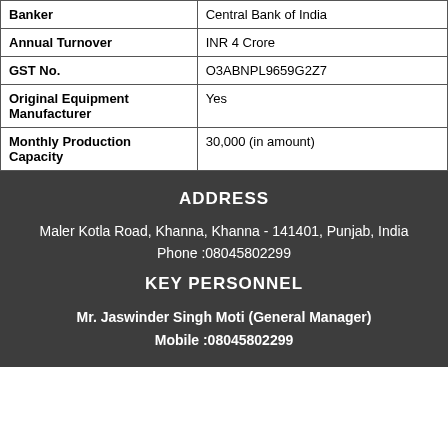| Banker | Central Bank of India |
| Annual Turnover | INR 4 Crore |
| GST No. | 03ABNPL9659G2Z7 |
| Original Equipment Manufacturer | Yes |
| Monthly Production Capacity | 30,000 (in amount) |
ADDRESS
Maler Kotla Road, Khanna, Khanna - 141401, Punjab, India
Phone :08045802299
KEY PERSONNEL
Mr. Jaswinder Singh Moti (General Manager)
Mobile :08045802299